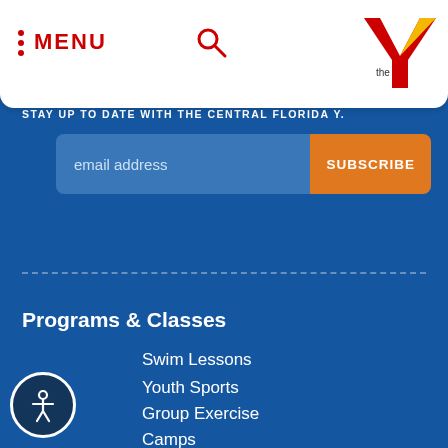MENU
STAY UP TO DATE WITH THE CENTRAL FLORIDA Y.
email address  SUBSCRIBE
Programs & Classes
Swim Lessons
Youth Sports
Group Exercise
Camps
School Programs